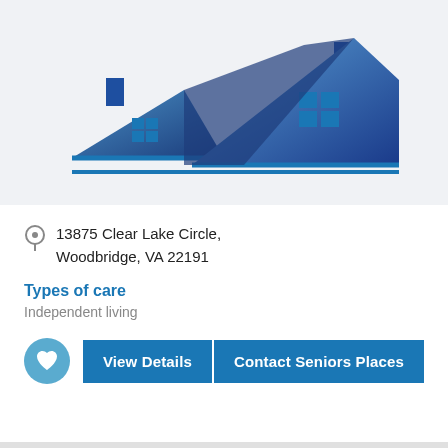[Figure (logo): Blue house/home icon logo showing two stylized houses with rooftops, windows as 2x2 grid squares, and chimneys, in blue gradient coloring on a light gray background]
13875 Clear Lake Circle, Woodbridge, VA 22191
Types of care
Independent living